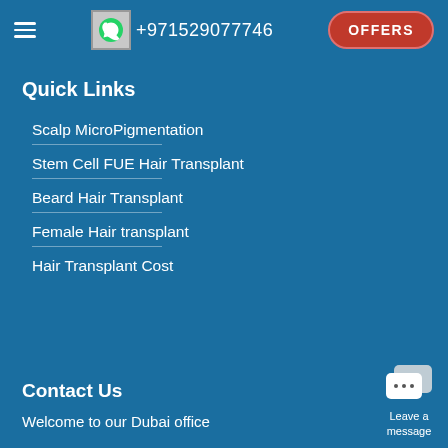+971529077746  OFFERS
Quick Links
Scalp MicroPigmentation
Stem Cell FUE Hair Transplant
Beard Hair Transplant
Female Hair transplant
Hair Transplant Cost
Contact Us
Welcome to our Dubai office